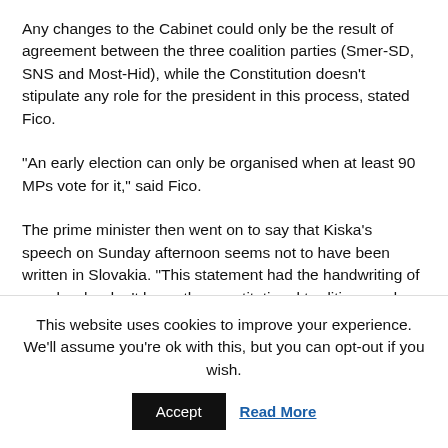Any changes to the Cabinet could only be the result of agreement between the three coalition parties (Smer-SD, SNS and Most-Hid), while the Constitution doesn't stipulate any role for the president in this process, stated Fico.
“An early election can only be organised when at least 90 MPs vote for it,” said Fico.
The prime minister then went on to say that Kiska’s speech on Sunday afternoon seems not to have been written in Slovakia. “This statement had the handwriting of people who don’t know the constitutional traditions and rules and pursue quite different
This website uses cookies to improve your experience. We'll assume you're ok with this, but you can opt-out if you wish.